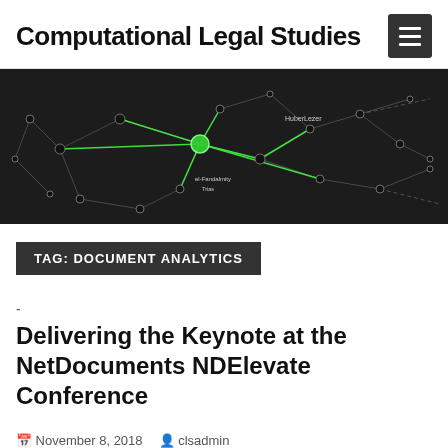Computational Legal Studies
[Figure (network-graph): A dark background network graph with nodes (black dots) connected by white/gray lines and bright green highlighted edges forming a network visualization, with some node labels visible.]
TAG: DOCUMENT ANALYTICS
-
Delivering the Keynote at the NetDocuments NDElevate Conference
November 8, 2018   clsadmin